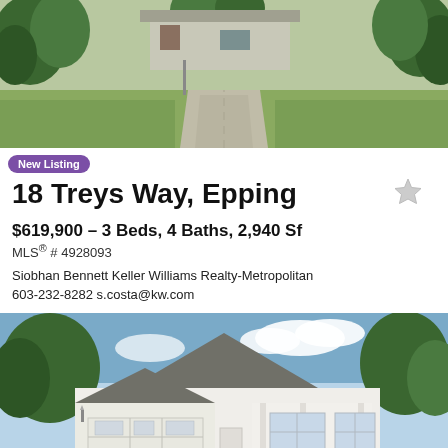[Figure (photo): Aerial view of a residential driveway leading to a house surrounded by green trees and lawn]
New Listing
18 Treys Way, Epping
$619,900 – 3 Beds, 4 Baths, 2,940 Sf
MLS® # 4928093
Siobhan Bennett Keller Williams Realty-Metropolitan
603-232-8282 s.costa@kw.com
[Figure (photo): Front exterior view of a white single-story house with a two-car garage and covered porch]